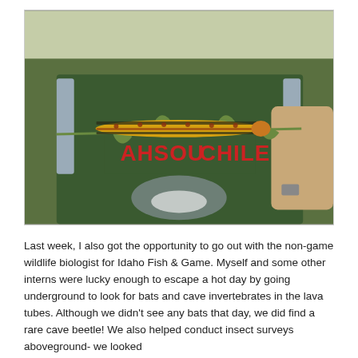[Figure (photo): Close-up photo of a person wearing a dark green t-shirt with 'AHSOU CHILE' text, holding a plant stem with a yellow and black striped caterpillar on it. Person has a backpack. Outdoor setting with scrubby vegetation visible in background.]
Last week, I also got the opportunity to go out with the non-game wildlife biologist for Idaho Fish & Game. Myself and some other interns were lucky enough to escape a hot day by going underground to look for bats and cave invertebrates in the lava tubes. Although we didn't see any bats that day, we did find a rare cave beetle! We also helped conduct insect surveys aboveground- we looked